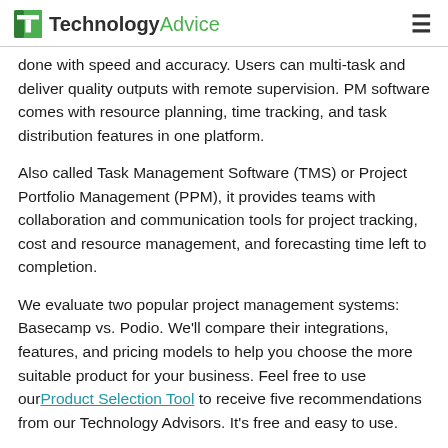TechnologyAdvice
done with speed and accuracy. Users can multi-task and deliver quality outputs with remote supervision. PM software comes with resource planning, time tracking, and task distribution features in one platform.
Also called Task Management Software (TMS) or Project Portfolio Management (PPM), it provides teams with collaboration and communication tools for project tracking, cost and resource management, and forecasting time left to completion.
We evaluate two popular project management systems: Basecamp vs. Podio. We'll compare their integrations, features, and pricing models to help you choose the more suitable product for your business. Feel free to use our Product Selection Tool to receive five recommendations from our Technology Advisors. It's free and easy to use.